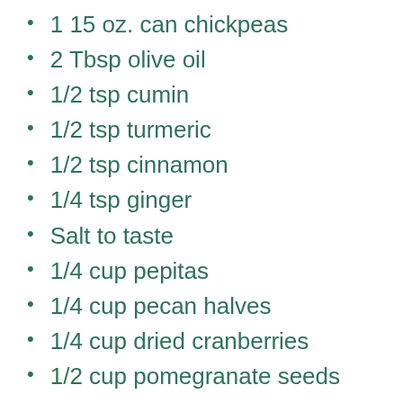1 15 oz. can chickpeas
2 Tbsp olive oil
1/2 tsp cumin
1/2 tsp turmeric
1/2 tsp cinnamon
1/4 tsp ginger
Salt to taste
1/4 cup pepitas
1/4 cup pecan halves
1/4 cup dried cranberries
1/2 cup pomegranate seeds